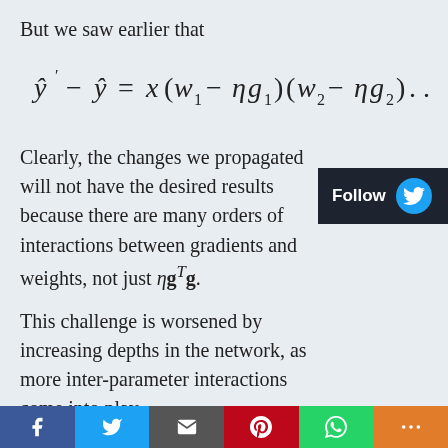But we saw earlier that
Clearly, the changes we propagated will not have the desired results because there are many orders of interactions between gradients and weights, not just ηg^T g.
This challenge is worsened by increasing depths in the network, as more inter-parameter interactions come into play.